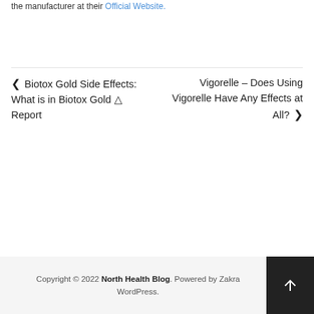the manufacturer at their Official Website.
← Biotox Gold Side Effects: What is in Biotox Gold ⚠ Report   Vigorelle – Does Using Vigorelle Have Any Effects at All? →
Copyright © 2022 North Health Blog. Powered by Zakra WordPress.